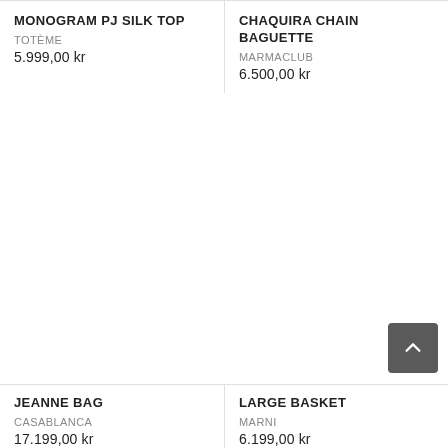MONOGRAM PJ SILK TOP
TOTÈME
5.999,00 kr
CHAQUIRA CHAIN BAGUETTE
MARMACLUB
6.500,00 kr
JEANNE BAG
CASABLANCA
17.199,00 kr
LARGE BASKET
MARNI
6.199,00 kr